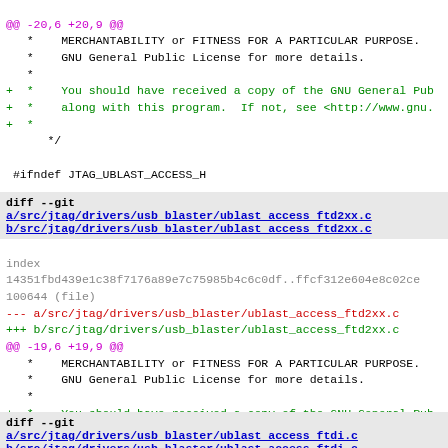@@ -20,6 +20,9 @@
 *    MERCHANTABILITY or FITNESS FOR A PARTICULAR PURPOSE.
 *    GNU General Public License for more details.
 *
+ *    You should have received a copy of the GNU General Pub
+ *    along with this program.  If not, see <http://www.gnu.
+ *
    */

 #ifndef JTAG_UBLAST_ACCESS_H
diff --git a/src/jtag/drivers/usb blaster/ublast access ftd2xx.c b/src/jtag/drivers/usb blaster/ublast access ftd2xx.c
index 14351fbd439e1c38f7176a89e7c75985b4c6c0df..ffcf312e604e8c02ce 100644 (file)
--- a/src/jtag/drivers/usb_blaster/ublast_access_ftd2xx.c
+++ b/src/jtag/drivers/usb_blaster/ublast_access_ftd2xx.c
@@ -19,6 +19,9 @@
 *    MERCHANTABILITY or FITNESS FOR A PARTICULAR PURPOSE.
 *    GNU General Public License for more details.
 *
+ *    You should have received a copy of the GNU General Pub
+ *    along with this program.  If not, see <http://www.gnu.
+ *
    */

 #ifdef HAVE_CONFIG_H
diff --git a/src/jtag/drivers/usb blaster/ublast access ftdi.c b/src/jtag/drivers/usb blaster/ublast access ftdi.c